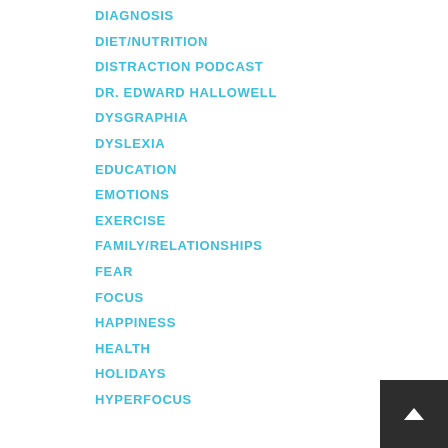DIAGNOSIS
DIET/NUTRITION
DISTRACTION PODCAST
DR. EDWARD HALLOWELL
DYSGRAPHIA
DYSLEXIA
EDUCATION
EMOTIONS
EXERCISE
FAMILY/RELATIONSHIPS
FEAR
FOCUS
HAPPINESS
HEALTH
HOLIDAYS
HYPERFOCUS